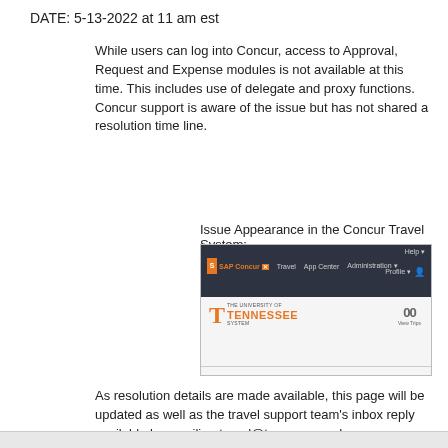DATE: 5-13-2022 at 11 am est
While users can log into Concur, access to Approval, Request and Expense modules is not available at this time. This includes use of delegate and proxy functions. Concur support is aware of the issue but has not shared a resolution time line.
Issue Appearance in the Concur Travel System:
[Figure (screenshot): Screenshot of SAP Concur travel system showing the University of Tennessee logo and navigation bar with darkened menu. The main content area shows trip count as '00' with 'View Trips' label, indicating no accessible modules.]
As resolution details are made available, this page will be updated as well as the travel support team's inbox reply available by emailing travel@tennessee.edu.